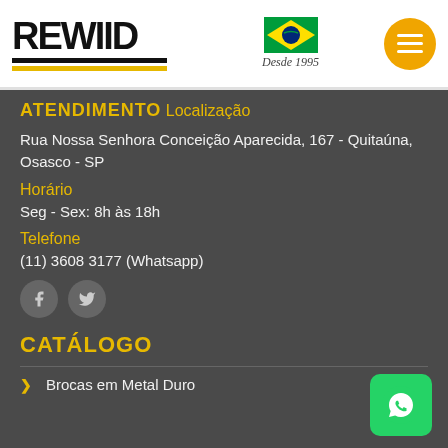[Figure (logo): Rewiid company logo with two horizontal bars (black and yellow) below the text, Brazilian flag, 'Desde 1995' text, and orange hamburger menu button]
ATENDIMENTO
Localização
Rua Nossa Senhora Conceição Aparecida, 167 - Quitaúna, Osasco - SP
Horário
Seg - Sex: 8h às 18h
Telefone
(11) 3608 3177 (Whatsapp)
[Figure (illustration): Facebook and Twitter social media icon buttons (grey circles)]
CATÁLOGO
Brocas em Metal Duro
[Figure (logo): WhatsApp green button icon in bottom right corner]